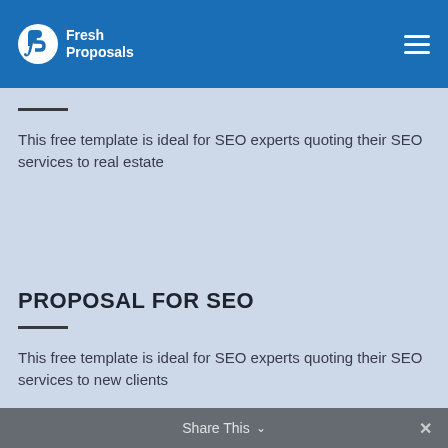Fresh Proposals
This free template is ideal for SEO experts quoting their SEO services to real estate
PROPOSAL FOR SEO
This free template is ideal for SEO experts quoting their SEO services to new clients
Share This ✓  ✕